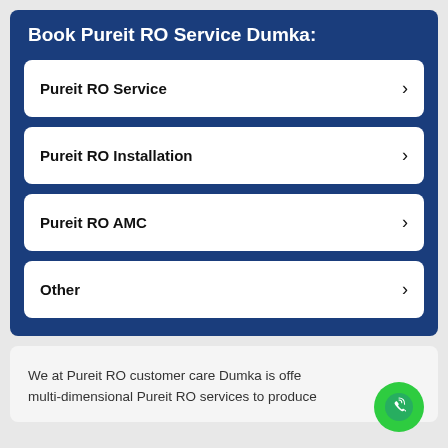Book Pureit RO Service Dumka:
Pureit RO Service
Pureit RO Installation
Pureit RO AMC
Other
We at Pureit RO customer care Dumka is offe... multi-dimensional Pureit RO services to produce